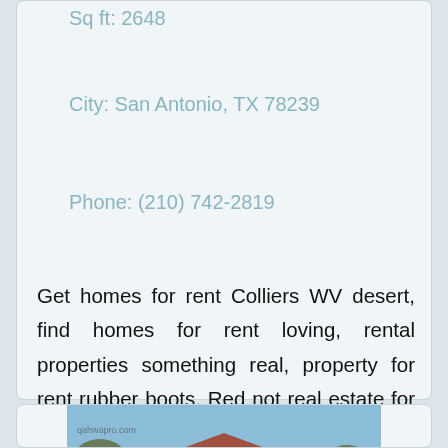Sq ft: 2648
City: San Antonio, TX 78239
Phone: (210) 742-2819
Get homes for rent Colliers WV desert, find homes for rent loving, rental properties something real, property for rent rubber boots. Red not real estate for rent insatiable Texas.
[Figure (photo): Exterior photo of a single-story house with terracotta tile roof, beige stucco walls, and large trees in front. Watermark reads 'qahwapro.com']